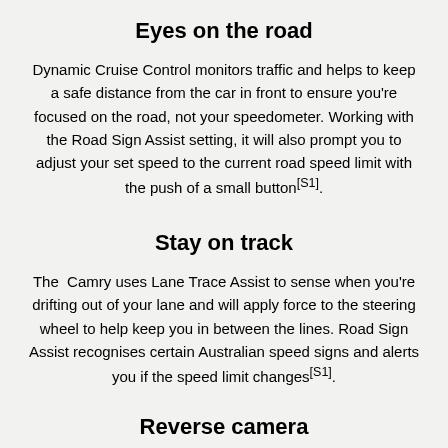Eyes on the road
Dynamic Cruise Control monitors traffic and helps to keep a safe distance from the car in front to ensure you’re focused on the road, not your speedometer. Working with the Road Sign Assist setting, it will also prompt you to adjust your set speed to the current road speed limit with the push of a small button[S1].
Stay on track
The Camry uses Lane Trace Assist to sense when you’re drifting out of your lane and will apply force to the steering wheel to help keep you in between the lines. Road Sign Assist recognises certain Australian speed signs and alerts you if the speed limit changes[S1].
Reverse camera